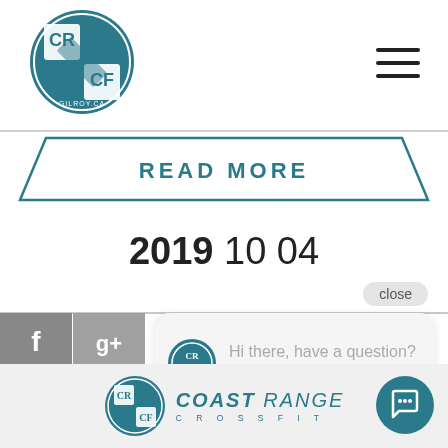[Figure (logo): Coast Range CrossFit circular logo with CR CF text and GILROY.CA, teal/white colors]
[Figure (other): Hamburger menu icon (three horizontal lines)]
READ MORE
2019 10 04
close
[Figure (other): Facebook share button (f icon, grey background)]
[Figure (other): Google+ share button (g+ icon, grey background)]
[Figure (other): Chat popup with CRCF logo icon and text: Hi there, have a question? Text us here.]
[Figure (logo): Coast Range CrossFit footer logo with circular CRCF icon and COAST RANGE CROSSFIT text in teal italic]
[Figure (other): Teal circular chat bubble button]